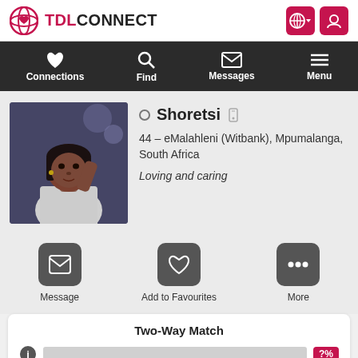[Figure (logo): TDLConnect logo with atom/heart icon in pink and black bold text]
Connections | Find | Messages | Menu
[Figure (photo): Profile photo of a woman]
Shoretsi
44 – eMalahleni (Witbank), Mpumalanga, South Africa
Loving and caring
[Figure (infographic): Three action buttons: Message, Add to Favourites, More]
Two-Way Match
Join and create your free profile today to see how well you match with her, and hundreds more.
Join now
Online: More than 6 months ago